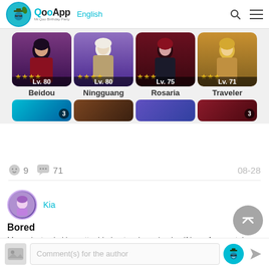QooApp English
[Figure (screenshot): Four character cards for Genshin Impact: Beidou Lv.80, Ningguang Lv.80, Rosaria Lv.75, Traveler Lv.71, each with star ratings]
9  71  08-28
Kia
Bored
My project sekai is pretty dried out so i was hoping if i can farm or take care of any of u guys account ( no fee needed ) I've seen some
Comment(s) for the author